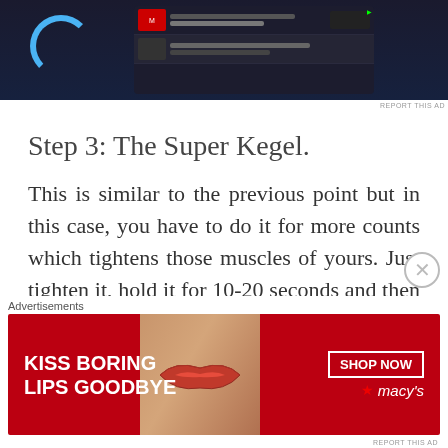[Figure (screenshot): Top advertisement showing a music streaming app interface with dark background, blue circular loading icon, and app screen mockup]
Step 3: The Super Kegel.
This is similar to the previous point but in this case, you have to do it for more counts which tightens those muscles of yours. Just tighten it, hold it for 10-20 seconds and then release it
[Figure (photo): Bottom advertisement banner: red background with 'KISS BORING LIPS GOODBYE' text, woman's lips photo, SHOP NOW button, and Macy's logo]